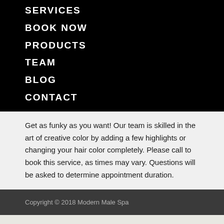SERVICES
BOOK NOW
PRODUCTS
TEAM
BLOG
CONTACT
Get as funky as you want! Our team is skilled in the art of creative color by adding a few highlights or changing your hair color completely. Please call to book this service, as times may vary. Questions will be asked to determine appointment duration.
Copyright © 2018 Modern Male Spa